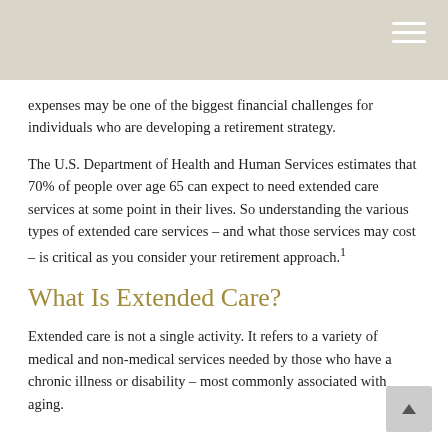expenses may be one of the biggest financial challenges for individuals who are developing a retirement strategy.
The U.S. Department of Health and Human Services estimates that 70% of people over age 65 can expect to need extended care services at some point in their lives. So understanding the various types of extended care services – and what those services may cost – is critical as you consider your retirement approach.1
What Is Extended Care?
Extended care is not a single activity. It refers to a variety of medical and non-medical services needed by those who have a chronic illness or disability – most commonly associated with aging.